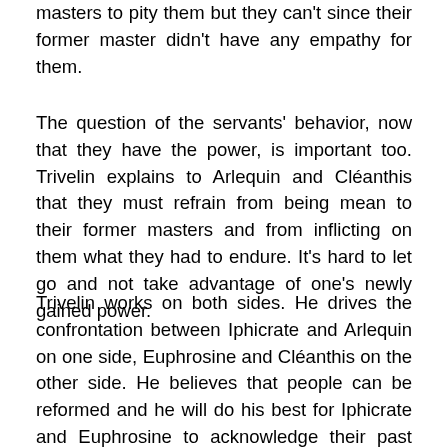masters to pity them but they can't since their former master didn't have any empathy for them.
The question of the servants' behavior, now that they have the power, is important too. Trivelin explains to Arlequin and Cléanthis that they must refrain from being mean to their former masters and from inflicting on them what they had to endure. It's hard to let go and not take advantage of one's newly gained power.
Trivelin works on both sides. He drives the confrontation between Iphicrate and Arlequin on one side, Euphrosine and Cléanthis on the other side. He believes that people can be reformed and he will do his best for Iphicrate and Euphrosine to acknowledge their past behavior, truly understand the error of their ways and change them into better masters, better persons and people better fitted to